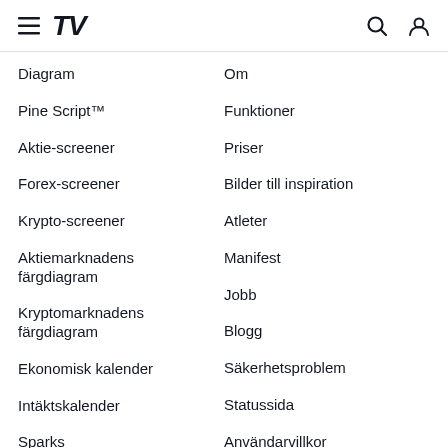[Figure (logo): TradingView navigation header with hamburger menu, TV logo, search icon and user icon]
Diagram
Pine Script™
Aktie-screener
Forex-screener
Krypto-screener
Aktiemarknadens färgdiagram
Kryptomarknadens färgdiagram
Ekonomisk kalender
Intäktskalender
Sparks
Om
Funktioner
Priser
Bilder till inspiration
Atleter
Manifest
Jobb
Blogg
Säkerhetsproblem
Statussida
Användarvillkor
Frånsägelse av ansvar